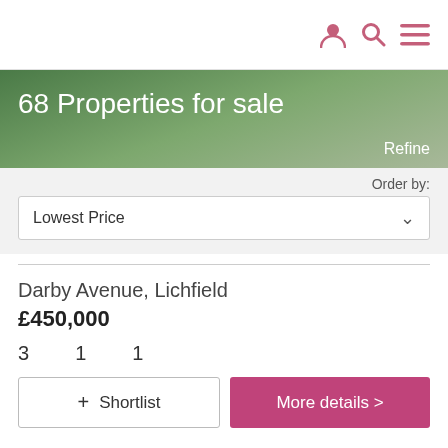Navigation icons: user, search, menu
68 Properties for sale
Refine
Order by:
Lowest Price
Darby Avenue, Lichfield
£450,000
3  1  1
+ Shortlist
More details >